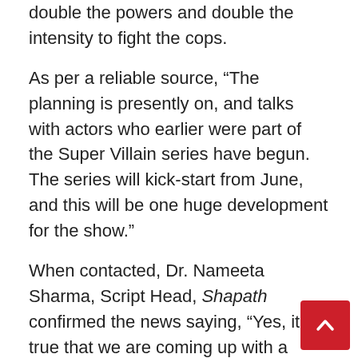double the powers and double the intensity to fight the cops.
As per a reliable source, “The planning is presently on, and talks with actors who earlier were part of the Super Villain series have begun. The series will kick-start from June, and this will be one huge development for the show.”
When contacted, Dr. Nameeta Sharma, Script Head, Shapath confirmed the news saying, “Yes, it is true that we are coming up with a series which will see the return of super villains. The plan is to hit the bull’s eye on the number chart; the super villains will be back with even more powers.”